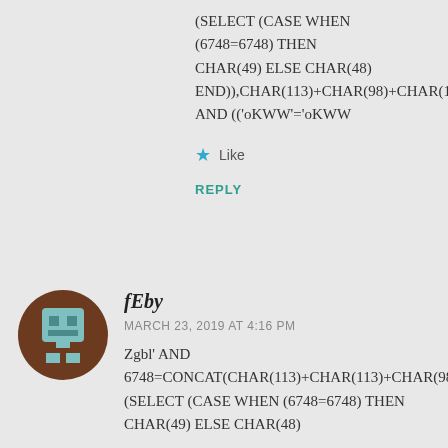(SELECT (CASE WHEN (6748=6748) THEN CHAR(49) ELSE CHAR(48) END)),CHAR(113)+CHAR(98)+CHAR(122)+CHAR(1 AND (('oKWW'='oKWW
Like
REPLY
[Figure (illustration): User avatar: brown circle with a pixelated gray robot/game character icon in teal and brown colors]
fEby
MARCH 23, 2019 AT 4:16 PM
Zgbl' AND 6748=CONCAT(CHAR(113)+CHAR(113)+CHAR(98 (SELECT (CASE WHEN (6748=6748) THEN CHAR(49) ELSE CHAR(48)